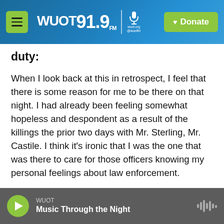WUOT 91.9 FM | Donate
duty:
When I look back at this in retrospect, I feel that there is some reason for me to be there on that night. I had already been feeling somewhat hopeless and despondent as a result of the killings the prior two days with Mr. Sterling, Mr. Castile. I think it's ironic that I was the one that was there to care for those officers knowing my personal feelings about law enforcement.
I certainly did not allow my personal feelings to in any way interfere with the quality of care I give any patient regardless of their ethnicity or race [or]
WUOT — Music Through the Night